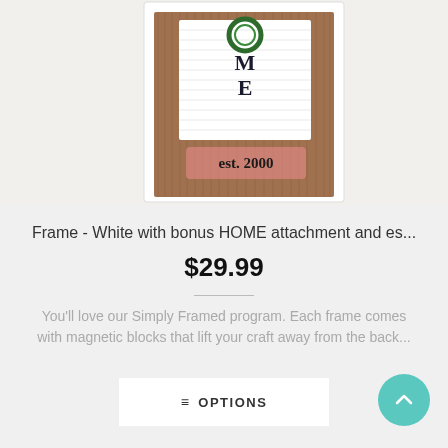[Figure (photo): Product photo of a white picture frame containing a wooden background with HOME letters and a wreath on top, plus a pink 'est. 2000' tag]
Frame - White with bonus HOME attachment and es...
$29.99
You'll love our Simply Framed program. Each frame comes with magnetic blocks that lift your craft away from the back...